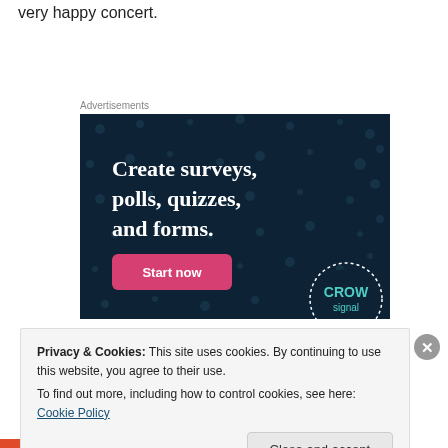very happy concert.
Advertisements
[Figure (other): Advertisement banner with dark navy background and dot pattern. Text reads: 'Create surveys, polls, quizzes, and forms.' with a pink 'Start now' button and a circular CROWD logo in the bottom right.]
Privacy & Cookies: This site uses cookies. By continuing to use this website, you agree to their use.
To find out more, including how to control cookies, see here: Cookie Policy
Close and accept